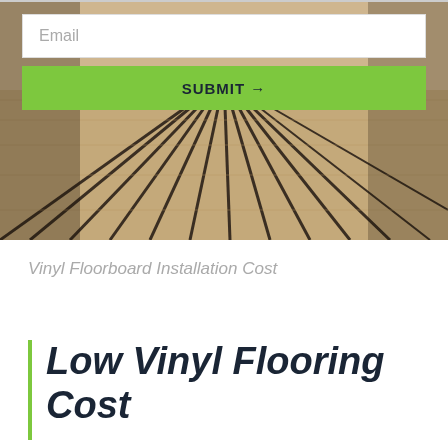[Figure (photo): Wooden deck/floor planks receding in perspective, light tan/beige wood, with dark gaps between boards, viewed from above at an angle.]
Email
SUBMIT →
Vinyl Floorboard Installation Cost
Low Vinyl Flooring Cost